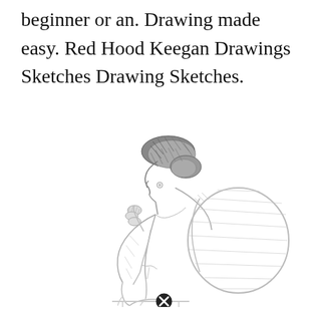beginner or an. Drawing made easy. Red Hood Keegan Drawings Sketches Drawing Sketches.
[Figure (illustration): A pencil sketch of a person sitting in a hunched, contemplative pose with hands clasped near their face, wearing loose clothing, viewed from the side. A large round bag or backpack is visible on their back. The figure is seated on what appears to be a bench or surface. At the bottom center is a small circular icon with an X.]